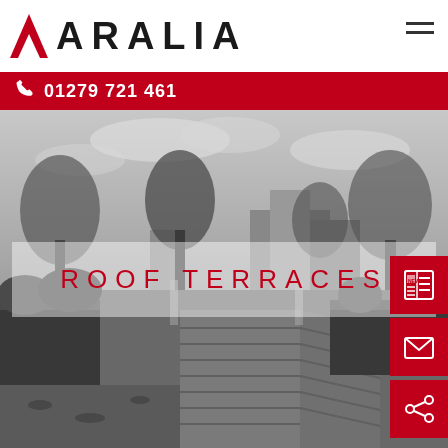ARALIA
01279 721 461
[Figure (photo): Black and white photograph of a modern roof terrace with wooden decking, large dark rectangular planters with hedging and plants, glass balustrade panels, and trees in the background under a cloudy sky.]
ROOF TERRACES